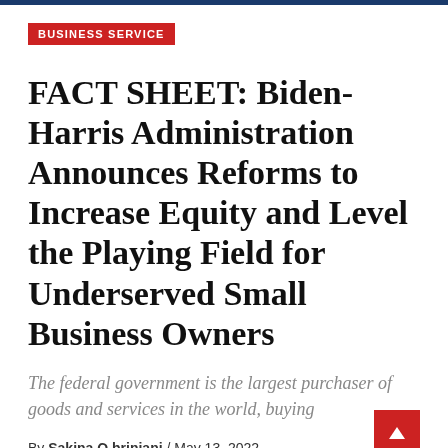BUSINESS SERVICE
FACT SHEET: Biden-Harris Administration Announces Reforms to Increase Equity and Level the Playing Field for Underserved Small Business Owners
The federal government is the largest purchaser of goods and services in the world, buying
By Sakina Q brinjani / May 13, 2022